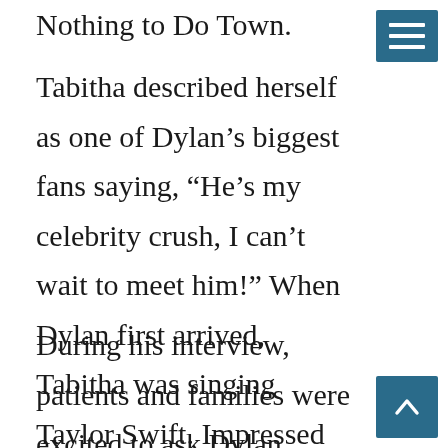Nothing to Do Town.
Tabitha described herself as one of Dylan’s biggest fans saying, “He’s my celebrity crush, I can’t wait to meet him!” When Dylan first arrived, Tabitha was singing Taylor Swift. Impressed with her singing he asked, “You’re going to take my job, aren’t you?”
During his interview, patients and families were excited to ask Dylan countless questions. Dylan revealed that he first